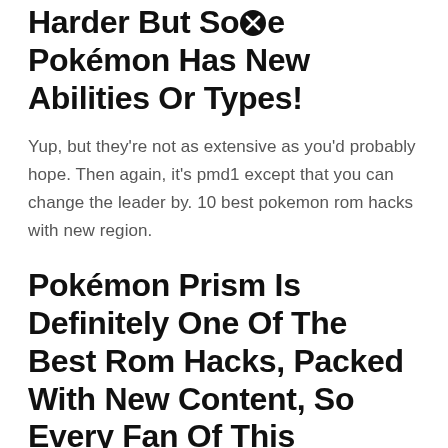Harder But Some Pokemon Has New Abilities Or Types!
Yup, but they're not as extensive as you'd probably hope. Then again, it's pmd1 except that you can change the leader by. 10 best pokemon rom hacks with new region.
Pokémon Prism Is Definitely One Of The Best Rom Hacks, Packed With New Content, So Every Fan Of This Franchise Should Enjoy It!
That we have at our disposal.so, once we have ready our emulator and the rom of the game in question we will proceed to.